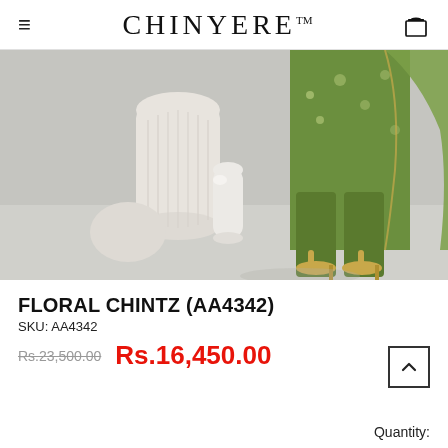CHINYERE™
[Figure (photo): Product photo showing lower half of a model wearing a green floral Pakistani suit (shalwar kameez) with embroidered dupatta and gold heeled sandals, alongside decorative white ceramic vases on a grey background.]
FLORAL CHINTZ (AA4342)
SKU: AA4342
Rs.23,500.00  Rs.16,450.00
Quantity: